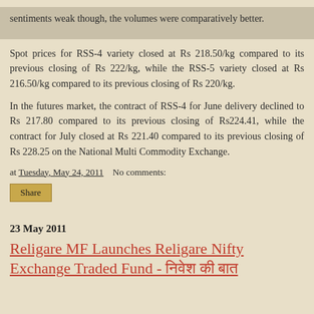sentiments weak though, the volumes were comparatively better.
Spot prices for RSS-4 variety closed at Rs 218.50/kg compared to its previous closing of Rs 222/kg, while the RSS-5 variety closed at Rs 216.50/kg compared to its previous closing of Rs 220/kg.
In the futures market, the contract of RSS-4 for June delivery declined to Rs 217.80 compared to its previous closing of Rs224.41, while the contract for July closed at Rs 221.40 compared to its previous closing of Rs 228.25 on the National Multi Commodity Exchange.
at Tuesday, May 24, 2011   No comments:
Share
23 May 2011
Religare MF Launches Religare Nifty Exchange Traded Fund - निवेश की बात